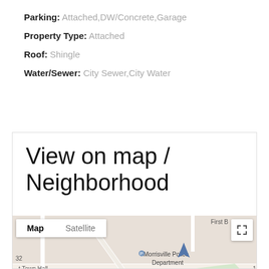Parking: Attached,DW/Concrete,Garage
Property Type: Attached
Roof: Shingle
Water/Sewer: City Sewer,City Water
View on map / Neighborhood
[Figure (map): Google map showing Morrisville area with Map/Satellite toggle, Morrisville Police Department, Morrisville Town Hall, Carolina St, Indian Creek labels, and a red location pin marker.]